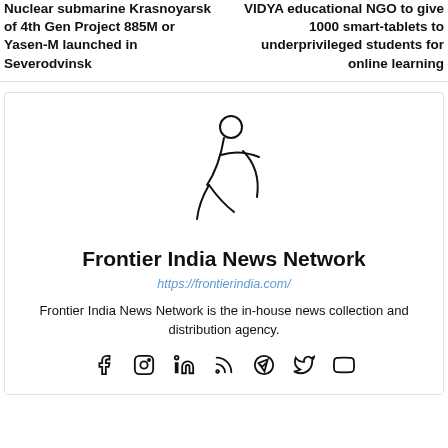Nuclear submarine Krasnoyarsk of 4th Gen Project 885M or Yasen-M launched in Severodvinsk
VIDYA educational NGO to give 1000 smart-tablets to underprivileged students for online learning
[Figure (logo): Frontier India News Network logo — stylized teal human figure in motion]
Frontier India News Network
https://frontierindia.com/
Frontier India News Network is the in-house news collection and distribution agency.
[Figure (infographic): Social media icons row: Facebook, Instagram, LinkedIn, RSS, Telegram, Twitter, YouTube]